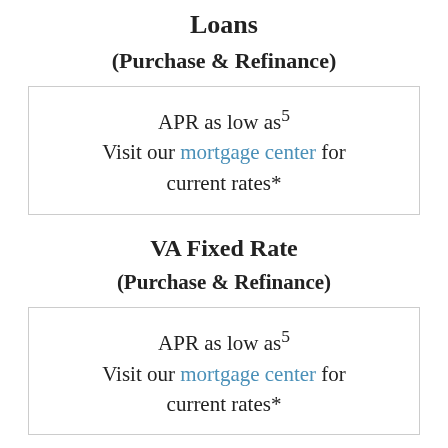Loans
(Purchase & Refinance)
APR as low as5 Visit our mortgage center for current rates*
VA Fixed Rate
(Purchase & Refinance)
APR as low as5 Visit our mortgage center for current rates*